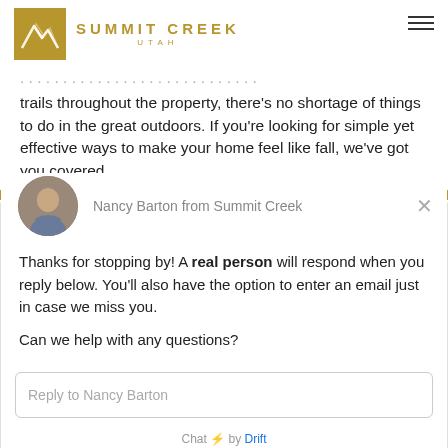[Figure (logo): Summit Creek Utah logo with gold mountain icon and text]
trails throughout the property, there's no shortage of things to do in the great outdoors. If you're looking for simple yet effective ways to make your home feel like fall, we've got you covered.
Nancy Barton from Summit Creek
Thanks for stopping by! A real person will respond when you reply below. You'll also have the option to enter an email just in case we miss you.
Can we help with any questions?
Reply to Nancy Barton
Chat ⚡ by Drift